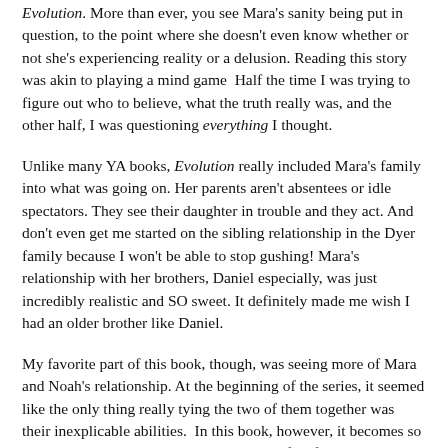Evolution. More than ever, you see Mara's sanity being put in question, to the point where she doesn't even know whether or not she's experiencing reality or a delusion. Reading this story was akin to playing a mind game  Half the time I was trying to figure out who to believe, what the truth really was, and the other half, I was questioning everything I thought.
Unlike many YA books, Evolution really included Mara's family into what was going on. Her parents aren't absentees or idle spectators. They see their daughter in trouble and they act. And don't even get me started on the sibling relationship in the Dyer family because I won't be able to stop gushing! Mara's relationship with her brothers, Daniel especially, was just incredibly realistic and SO sweet. It definitely made me wish I had an older brother like Daniel.
My favorite part of this book, though, was seeing more of Mara and Noah's relationship. At the beginning of the series, it seemed like the only thing really tying the two of them together was their inexplicable abilities.  In this book, however, it becomes so much more apparent that these two are perfect for each other!. I think it's safe to say that they